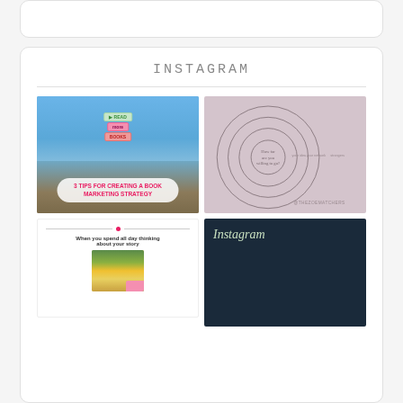[Figure (screenshot): Top card with rounded border, partial UI element]
INSTAGRAM
[Figure (photo): Instagram post: 3 TIPS FOR CREATING A BOOK MARKETING STRATEGY - outdoor waterfront photo with book enamel pin and pink text bubble overlay]
[Figure (illustration): Instagram post: concentric circles diagram on pink/mauve background with text 'How far are you willing to go?' and @THEZOEMATCHERS handle]
[Figure (screenshot): Instagram post: white card with pink divider line, text 'When you spend all day thinking about your story', photo of young boy smiling]
[Figure (photo): Instagram post: dark navy background with cursive Instagram script text and hands typing on keyboard]